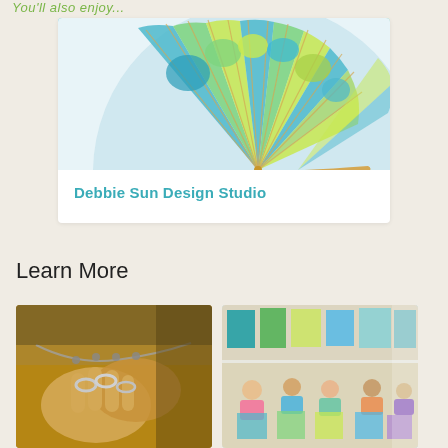You'll also enjoy...
[Figure (photo): Colorful decorative hand fan with blue, green, and yellow pattern on white fabric with bamboo handle — Debbie Sun Design Studio product card]
Debbie Sun Design Studio
Learn More
[Figure (photo): Close-up of hands working on jewelry, silver rings visible, craft/metalwork studio setting]
[Figure (photo): Art class scene with people seated at tables painting colorful canvases in a bright studio]